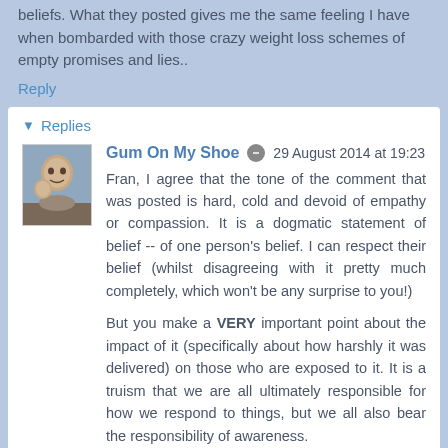beliefs. What they posted gives me the same feeling I have when bombarded with those crazy weight loss schemes of empty promises and lies..
Reply
Replies
Gum On My Shoe   29 August 2014 at 19:23
Fran, I agree that the tone of the comment that was posted is hard, cold and devoid of empathy or compassion. It is a dogmatic statement of belief -- of one person's belief. I can respect their belief (whilst disagreeing with it pretty much completely, which won't be any surprise to you!)
But you make a VERY important point about the impact of it (specifically about how harshly it was delivered) on those who are exposed to it. It is a truism that we are all ultimately responsible for how we respond to things, but we all also bear the responsibility of awareness.